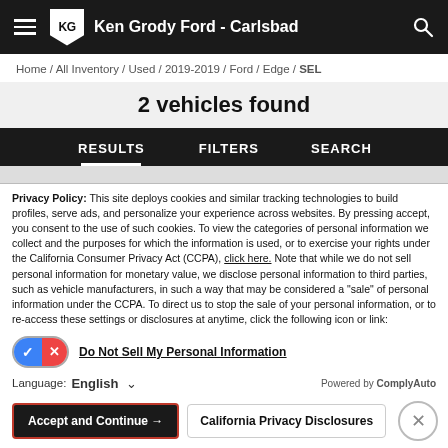Ken Grody Ford - Carlsbad
Home / All Inventory / Used / 2019-2019 / Ford / Edge / SEL
2 vehicles found
RESULTS   FILTERS   SEARCH
Privacy Policy: This site deploys cookies and similar tracking technologies to build profiles, serve ads, and personalize your experience across websites. By pressing accept, you consent to the use of such cookies. To view the categories of personal information we collect and the purposes for which the information is used, or to exercise your rights under the California Consumer Privacy Act (CCPA), click here. Note that while we do not sell personal information for monetary value, we disclose personal information to third parties, such as vehicle manufacturers, in such a way that may be considered a "sale" of personal information under the CCPA. To direct us to stop the sale of your personal information, or to re-access these settings or disclosures at anytime, click the following icon or link:
Do Not Sell My Personal Information
Language: English
Powered by ComplyAuto
Accept and Continue →   California Privacy Disclosures